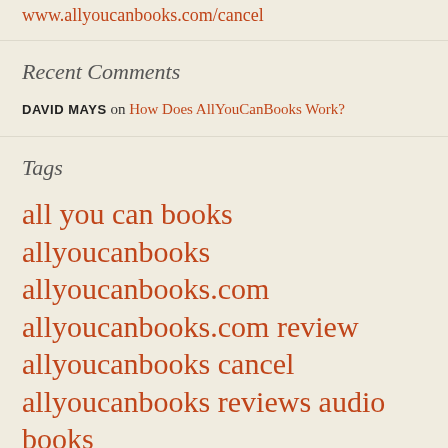www.allyoucanbooks.com/cancel
Recent Comments
DAVID MAYS on How Does AllYouCanBooks Work?
Tags
all you can books allyoucanbooks allyoucanbooks.com allyoucanbooks.com review allyoucanbooks cancel allyoucanbooks reviews audio books audiobooks audio books free